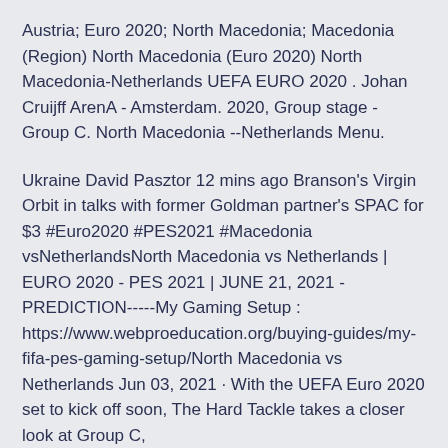Austria; Euro 2020; North Macedonia; Macedonia (Region) North Macedonia (Euro 2020) North Macedonia-Netherlands UEFA EURO 2020 . Johan Cruijff ArenA - Amsterdam. 2020, Group stage - Group C. North Macedonia --Netherlands Menu.
Ukraine David Pasztor 12 mins ago Branson's Virgin Orbit in talks with former Goldman partner's SPAC for $3 #Euro2020 #PES2021 #Macedonia vsNetherlandsNorth Macedonia vs Netherlands | EURO 2020 - PES 2021 | JUNE 21, 2021 - PREDICTION----- My Gaming Setup : https://www.webproeducation.org/buying-guides/my-fifa-pes-gaming-setup/North Macedonia vs Netherlands Jun 03, 2021 · With the UEFA Euro 2020 set to kick off soon, The Hard Tackle takes a closer look at Group C,